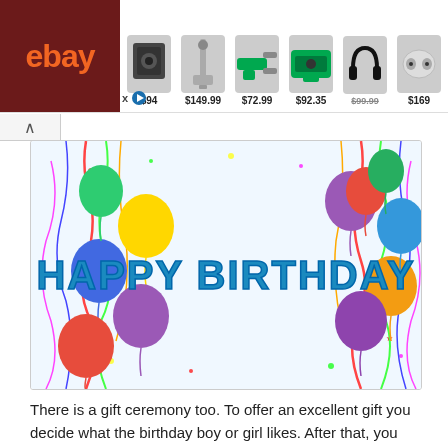[Figure (screenshot): eBay advertisement banner showing eBay logo on dark red background, with product images and prices: $94, $149.99, $72.99, $92.35, $99.99, $169]
[Figure (photo): Happy Birthday banner/card image with colorful balloons on the sides, streamers, and 'HAPPY BIRTHDAY' text in blue block letters in the center]
There is a gift ceremony too. To offer an excellent gift you decide what the birthday boy or girl likes. After that, you write a greeting card or a letter that I can say be the